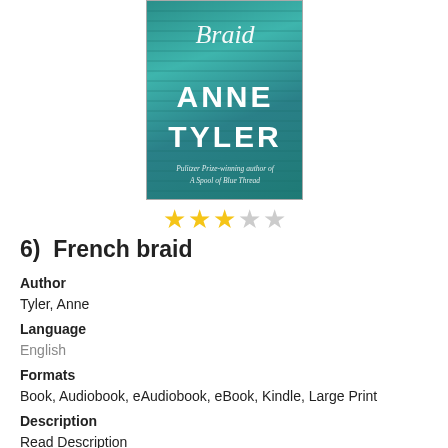[Figure (illustration): Book cover for 'French Braid' by Anne Tyler, teal/green textured background with white cursive title text and author name]
[Figure (other): Star rating: 3 out of 5 stars (3 filled yellow stars, 2 empty gray stars)]
6)  French braid
Author
Tyler, Anne
Language
English
Formats
Book, Audiobook, eAudiobook, eBook, Kindle, Large Print
Description
Read Description
[Figure (other): Action buttons: Info, Add to list; social share icons: email, Twitter, Facebook, Pinterest; chat bubble icon button; scroll-to-top button]
[Figure (photo): Partial book cover or author photo visible at bottom of page]